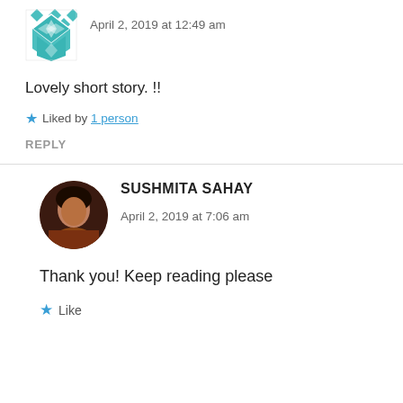[Figure (illustration): Teal geometric/quilt pattern avatar icon]
April 2, 2019 at 12:49 am
Lovely short story. !!
Liked by 1 person
REPLY
[Figure (photo): Circular profile photo of Sushmita Sahay, a woman with dark hair]
SUSHMITA SAHAY
April 2, 2019 at 7:06 am
Thank you! Keep reading please
Like